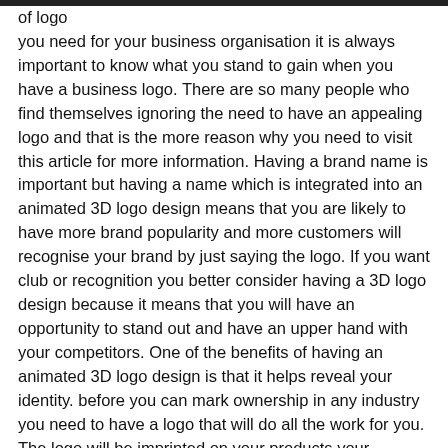of logo you need for your business organisation it is always important to know what you stand to gain when you have a business logo. There are so many people who find themselves ignoring the need to have an appealing logo and that is the more reason why you need to visit this article for more information. Having a brand name is important but having a name which is integrated into an animated 3D logo design means that you are likely to have more brand popularity and more customers will recognise your brand by just saying the logo. If you want club or recognition you better consider having a 3D logo design because it means that you will have an opportunity to stand out and have an upper hand with your competitors. One of the benefits of having an animated 3D logo design is that it helps reveal your identity. before you can mark ownership in any industry you need to have a logo that will do all the work for you. The logo will be imprinted on your products your business card or even your social media platforms and this means that it will communicate on a ship. And animated 3D logo design goes a long way to tell the world and potential clients about your brand and the services you offer as well as the benefits they stand to gain if they purchase your product or subscribe to your services.